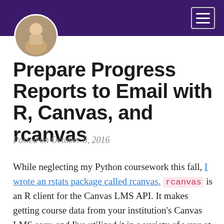[Figure (photo): Circular avatar photo of a person holding something, with a dark purple header bar behind it]
Prepare Progress Reports to Email with R, Canvas, and rcanvas
Posted on October 6, 2016
While neglecting my Python coursework this fall, I wrote an rstats package called rcanvas. rcanvas is an R client for the Canvas LMS API. It makes getting course data from your institution's Canvas LMS easy, and I've utilized it in a variety of ways at work. And despite the